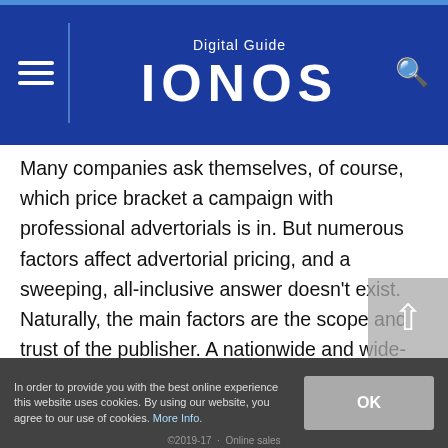Digital Guide IONOS
Many companies ask themselves, of course, which price bracket a campaign with professional advertorials is in. But numerous factors affect advertorial pricing, and a sweeping, all-inclusive answer doesn't exist. Naturally, the main factors are the scope and trust of the publisher. A nationwide and wide-ranging medium such as GQ is obviously in an entirely different price segment compared to a small niche-blog. Most publishers don't display a fixed price on their websites, and instead only give quotes on the back of  individual requests. An important factor in the question of cost is whether the advertorial is created by the editorial team of the publisher, or if it's created by the advertisers themselves. If you use the editorial resources of the publisher, the advertorial cost will obviously be higher.
In order to provide you with the best online experience this website uses cookies. By using our website, you agree to our use of cookies. More Info.
©2019-17 · Online sales